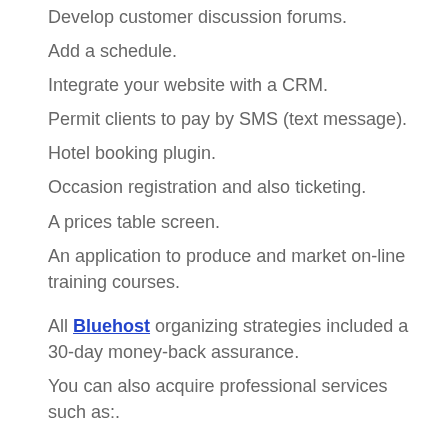Develop customer discussion forums.
Add a schedule.
Integrate your website with a CRM.
Permit clients to pay by SMS (text message).
Hotel booking plugin.
Occasion registration and also ticketing.
A prices table screen.
An application to produce and market on-line training courses.
All Bluehost organizing strategies included a 30-day money-back assurance.
You can also acquire professional services such as:.
Graphic layout of leaflets, posters, brand names, and also extra.
Internet site technological job like PayPal combination, blog established, adding Google Analytics or a map to your website, and so on.
Email Questio...